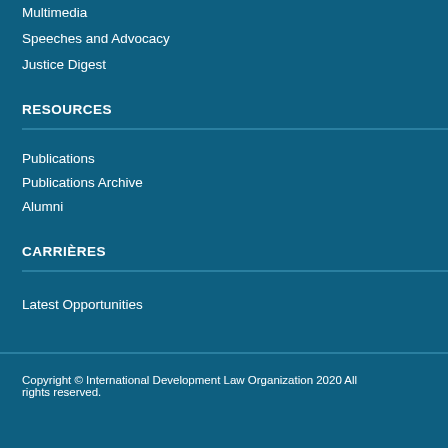Multimedia
Speeches and Advocacy
Justice Digest
RESOURCES
Publications
Publications Archive
Alumni
CARRIÈRES
Latest Opportunities
Copyright © International Development Law Organization 2020 All rights reserved.